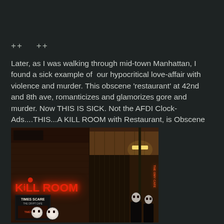++    ++
Later, as I was walking through mid-town Manhattan, I  found a sick example of  our hypocritical love-affair with violence and murder. This obscene 'restaurant' at 42nd and 8th ave, romanticizes and glamorizes gore and murder. Now THIS IS SICK. Not the AFDI Clock-Ads....THIS...A KILL ROOM with Restaurant, is Obscene and capitalizes on Acts of Savagery.
[Figure (photo): Street-level photo of the Kill Room restaurant/attraction in Manhattan at night, showing a red neon sign reading 'KILL ROOM', a Times Scare sign below it, and people in costumes/masks outside in a dark alley setting.]